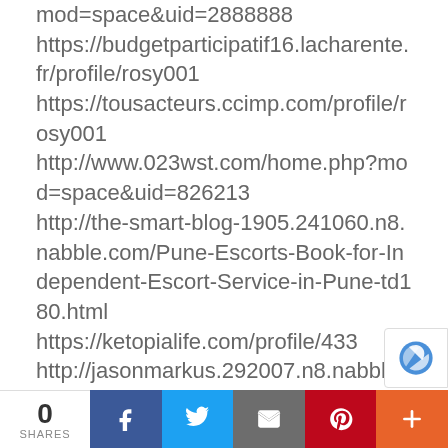mod=space&uid=2888888 https://budgetparticipatif16.lacharente.fr/profile/rosy001 https://tousacteurs.ccimp.com/profile/rosy001 http://www.023wst.com/home.php?mod=space&uid=826213 http://the-smart-blog-1905.241060.n8.nabble.com/Pune-Escorts-Book-for-Independent-Escort-Service-in-Pune-td180.html https://ketopialife.com/profile/433 http://jasonmarkus.292007.n8.nabble.com/Pune-escort-service-is-the-highest-level-of-professional-escort-valuable-that-one-pla-td61.html
0 SHARES | Facebook | Twitter | Email | Pinterest | More